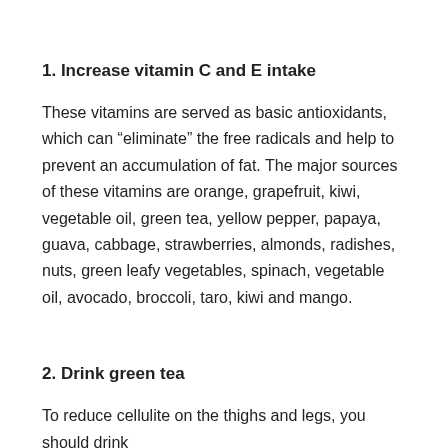1. Increase vitamin C and E intake
These vitamins are served as basic antioxidants, which can “eliminate” the free radicals and help to prevent an accumulation of fat. The major sources of these vitamins are orange, grapefruit, kiwi, vegetable oil, green tea, yellow pepper, papaya, guava, cabbage, strawberries, almonds, radishes, nuts, green leafy vegetables, spinach, vegetable oil, avocado, broccoli, taro, kiwi and mango.
2. Drink green tea
To reduce cellulite on the thighs and legs, you should drink